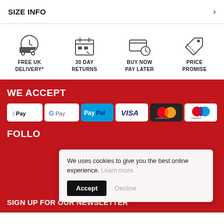SIZE INFO
[Figure (infographic): Four benefit icons: delivery truck (FREE UK DELIVERY*), calendar (30 DAY RETURNS), credit card with clock (BUY NOW PAY LATER), price tag (PRICE PROMISE)]
WE ACCEPT
[Figure (infographic): Payment method logos: Apple Pay, Google Pay, PayPal, VISA, Mastercard, Maestro]
FOLLOW
We uses cookies to give you the best online experience. Learn more.
Accept  Decline
SIGN UP FOR OUR NEWSLETTER